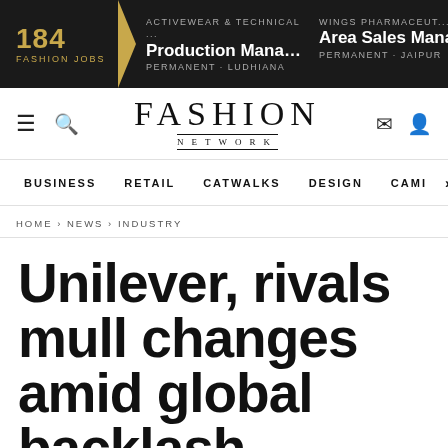184 FASHION JOBS | ACTIVEWEAR & TECHNICAL ... Production Manager (A... PERMANENT - LUDHIANA | WINGS PHARMACEUT... Area Sales Manag... PERMANENT - JAIPUR
[Figure (logo): Fashion Network logo with FASHION in large serif type and NETWORK below in small caps]
BUSINESS   RETAIL   CATWALKS   DESIGN   CAMI >
HOME › NEWS › INDUSTRY
Unilever, rivals mull changes amid global backlash against